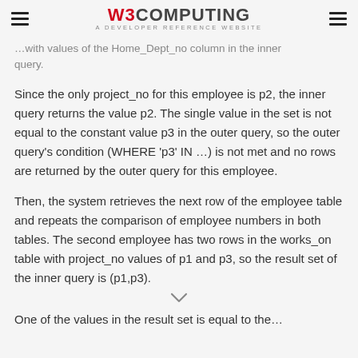W3COMPUTING A DEVELOPER REFERENCE WEBSITE
…with values of the Home_Dept_no column in the inner query.
Since the only project_no for this employee is p2, the inner query returns the value p2. The single value in the set is not equal to the constant value p3 in the outer query, so the outer query's condition (WHERE 'p3' IN …) is not met and no rows are returned by the outer query for this employee.
Then, the system retrieves the next row of the employee table and repeats the comparison of employee numbers in both tables. The second employee has two rows in the works_on table with project_no values of p1 and p3, so the result set of the inner query is (p1,p3).
One of the values in the result set is equal to the…